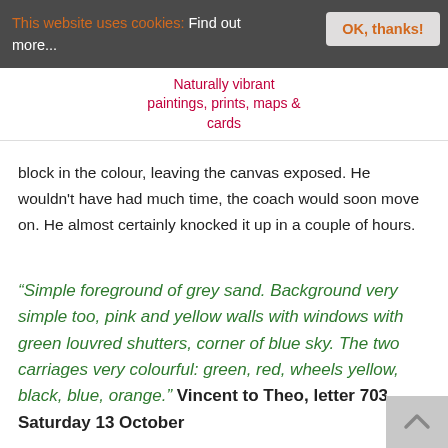This website uses cookies: Find out more... | OK, thanks!
Naturally vibrant paintings, prints, maps & cards
block in the colour, leaving the canvas exposed. He wouldn't have had much time, the coach would soon move on. He almost certainly knocked it up in a couple of hours.
“Simple foreground of grey sand. Background very simple too, pink and yellow walls with windows with green louvred shutters, corner of blue sky. The two carriages very colourful: green, red, wheels yellow, black, blue, orange.” Vincent to Theo, letter 703, Saturday 13 October